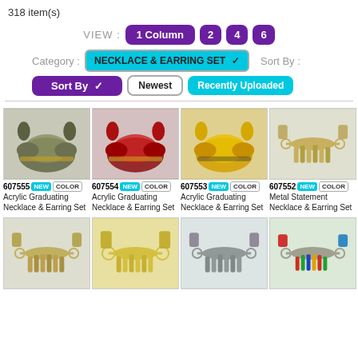318 item(s)
VIEW : 1 Column 2 4 6
Category : NECKLACE & EARRING SET   Sort By :
Sort By   Newest   Recently Uploaded
[Figure (photo): Product photo of acrylic graduating necklace and earring set in camo/green pattern]
607555 NEW COLOR
Acrylic Graduating Necklace & Earring Set
[Figure (photo): Product photo of acrylic graduating necklace and earring set in red/dark pattern]
607554 NEW COLOR
Acrylic Graduating Necklace & Earring Set
[Figure (photo): Product photo of acrylic graduating necklace and earring set in yellow/black pattern]
607553 NEW COLOR
Acrylic Graduating Necklace & Earring Set
[Figure (photo): Product photo of metal statement necklace and earring set in gold/silver spikes]
607552 NEW COLOR
Metal Statement Necklace & Earring Set
[Figure (photo): Product photo row 2 item 1 - metal statement necklace earring set]
[Figure (photo): Product photo row 2 item 2 - metal gold necklace earring set]
[Figure (photo): Product photo row 2 item 3 - metal silver necklace earring set]
[Figure (photo): Product photo row 2 item 4 - colorful necklace earring set]